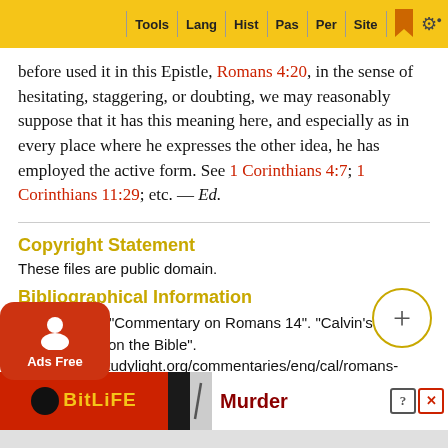Tools | Lang | Hist | Pas | Per | Site
before used it in this Epistle, Romans 4:20, in the sense of hesitating, staggering, or doubting, we may reasonably suppose that it has this meaning here, and especially as in every place where he expresses the other idea, he has employed the active form. See 1 Corinthians 4:7; 1 Corinthians 11:29; etc. — Ed.
Copyright Statement
These files are public domain.
Bibliographical Information
Calvin, John. "Commentary on Romans 14". "Calvin's Commentary on the Bible". https://www.studylight.org/commentaries/eng/cal/romans-14.html. 1840-57.